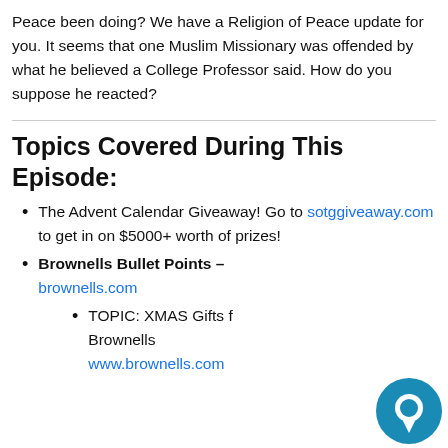Peace been doing? We have a Religion of Peace update for you. It seems that one Muslim Missionary was offended by what he believed a College Professor said. How do you suppose he reacted?
Topics Covered During This Episode:
The Advent Calendar Giveaway! Go to sotggiveaway.com to get in on $5000+ worth of prizes!
Brownells Bullet Points – brownells.com
TOPIC: XMAS Gifts f… Brownells www.brownells.com